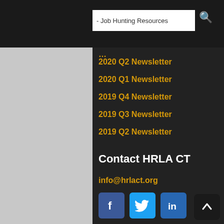- Job Hunting Resources
2020 Q2 Newsletter
2020 Q1 Newsletter
2019 Q4 Newsletter
2019 Q3 Newsletter
2019 Q2 Newsletter
Contact HRLA CT
info@hrlact.org
[Figure (infographic): Social media icons: Facebook (blue), Twitter (light blue), LinkedIn (dark blue)]
Join our Mailing List
Email address: